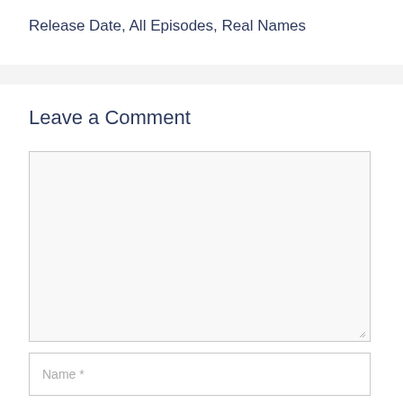Release Date, All Episodes, Real Names
Leave a Comment
Comment text area (empty)
Name *